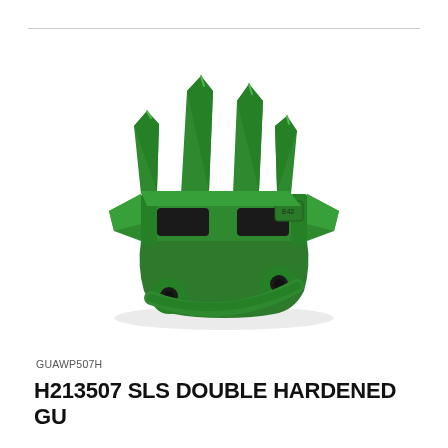[Figure (photo): A green painted cast metal double guard finger used in agricultural harvesting equipment (John Deere compatible). The part has four upward-pointing prongs, two mounting holes at the bottom, and rectangular slot openings in the base body. The casting has a part number embossed on the right side.]
GUAWP507H
H213507 SLS DOUBLE HARDENED GU